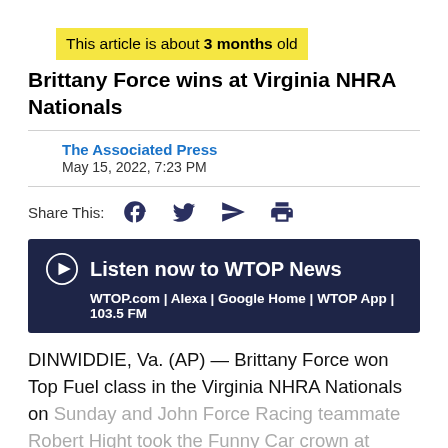This article is about 3 months old
Brittany Force wins at Virginia NHRA Nationals
The Associated Press
May 15, 2022, 7:23 PM
Share This:
[Figure (infographic): Listen now to WTOP News banner with play button icon. WTOP.com | Alexa | Google Home | WTOP App | 103.5 FM]
DINWIDDIE, Va. (AP) — Brittany Force won Top Fuel class in the Virginia NHRA Nationals on Sunday and John Force Racing teammate Robert Hight took the Funny Car crown at